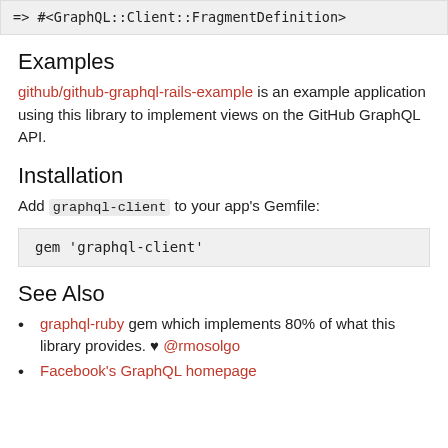=> #<GraphQL::Client::FragmentDefinition>
Examples
github/github-graphql-rails-example is an example application using this library to implement views on the GitHub GraphQL API.
Installation
Add graphql-client to your app's Gemfile:
gem 'graphql-client'
See Also
graphql-ruby gem which implements 80% of what this library provides. ♥ @rmosolgo
Facebook's GraphQL homepage